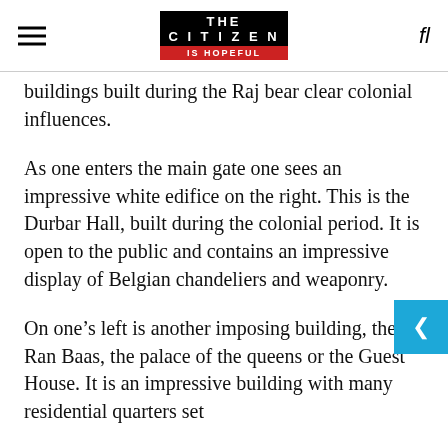THE CITIZEN IS HOPEFUL
buildings built during the Raj bear clear colonial influences.
As one enters the main gate one sees an impressive white edifice on the right. This is the Durbar Hall, built during the colonial period. It is open to the public and contains an impressive display of Belgian chandeliers and weaponry.
On one’s left is another imposing building, the Ran Baas, the palace of the queens or the Guest House. It is an impressive building with many residential quarters set